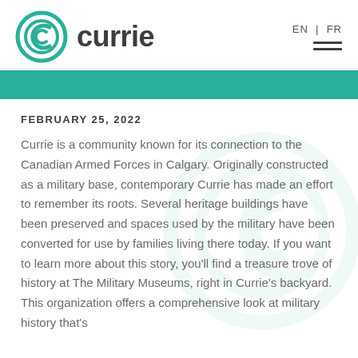[Figure (logo): Currie logo: teal circular icon with stylized C and the word 'currie' in dark gray bold text]
EN | FR
FEBRUARY 25, 2022
Currie is a community known for its connection to the Canadian Armed Forces in Calgary. Originally constructed as a military base, contemporary Currie has made an effort to remember its roots. Several heritage buildings have been preserved and spaces used by the military have been converted for use by families living there today. If you want to learn more about this story, you'll find a treasure trove of history at The Military Museums, right in Currie's backyard. This organization offers a comprehensive look at military history that's